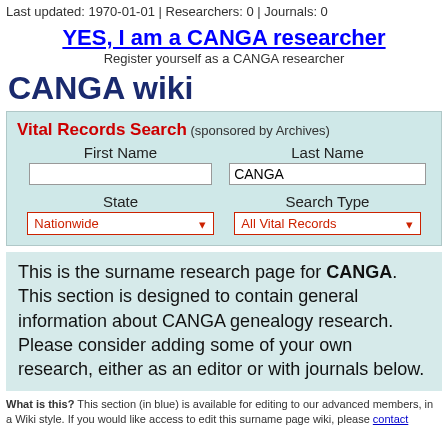Last updated: 1970-01-01 | Researchers: 0 | Journals: 0
YES, I am a CANGA researcher
Register yourself as a CANGA researcher
CANGA wiki
Vital Records Search (sponsored by Archives)
First Name  Last Name
[text input]  CANGA
State  Search Type
Nationwide ▾  All Vital Records ▾
This is the surname research page for CANGA. This section is designed to contain general information about CANGA genealogy research. Please consider adding some of your own research, either as an editor or with journals below.
What is this? This section (in blue) is available for editing to our advanced members, in a Wiki style. If you would like access to edit this surname page wiki, please contact